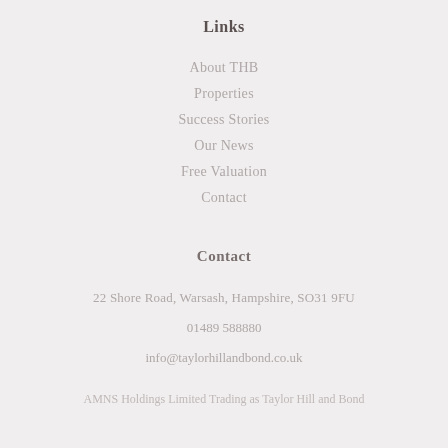Links
About THB
Properties
Success Stories
Our News
Free Valuation
Contact
Contact
22 Shore Road, Warsash, Hampshire, SO31 9FU
01489 588880
info@taylorhillandbond.co.uk
AMNS Holdings Limited Trading as Taylor Hill and Bond